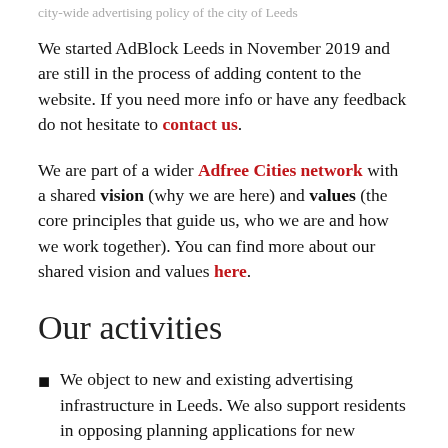We started AdBlock Leeds in November 2019 and are still in the process of adding content to the website. If you need more info or have any feedback do not hesitate to contact us.
We are part of a wider Adfree Cities network with a shared vision (why we are here) and values (the core principles that guide us, who we are and how we work together). You can find more about our shared vision and values here.
Our activities
We object to new and existing advertising infrastructure in Leeds. We also support residents in opposing planning applications for new advertisement